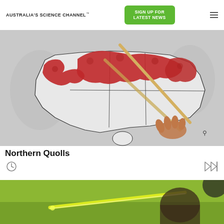AUSTRALIA'S SCIENCE CHANNEL™
[Figure (other): Green button reading SIGN UP FOR LATEST NEWS]
[Figure (photo): A map of Australia drawn on paper with red clay representing the northern quoll distribution, scissors and a hand visible]
Northern Quolls
[Figure (other): Clock/history icon on the left, fast-forward play icon on the right]
[Figure (photo): Green-lit science laboratory scene with a glowing yellow-green instrument and a person's head visible]